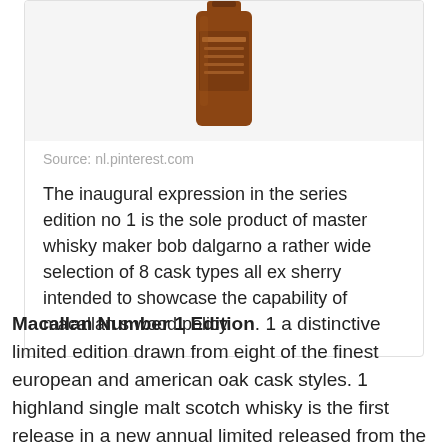[Figure (photo): Partial view of a whisky bottle (Macallan) shown from the top portion, brown/amber colored bottle against a light background]
Source: nl.pinterest.com
The inaugural expression in the series edition no 1 is the sole product of master whisky maker bob dalgarno a rather wide selection of 8 cask types all ex sherry intended to showcase the capability of macallan s wood policy.
Macallan Number 1 Edition. 1 a distinctive limited edition drawn from eight of the finest european and american oak cask styles. 1 highland single malt scotch whisky is the first release in a new annual limited released from the esteemed distillery.